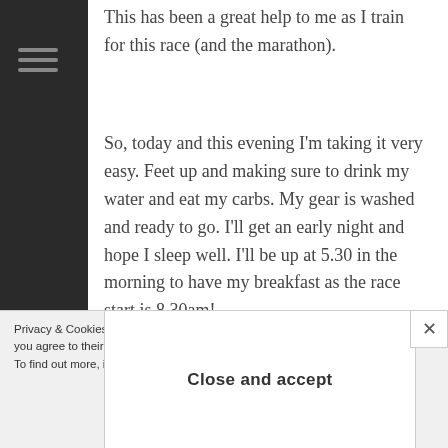This has been a great help to me as I train for this race (and the marathon).
So, today and this evening I'm taking it very easy. Feet up and making sure to drink my water and eat my carbs. My gear is washed and ready to go. I'll get an early night and hope I sleep well. I'll be up at 5.30 in the morning to have my breakfast as the race start is 8.30am!
So wish me luck in the comments below! I don't have anyone to cheer me on the course but your
Privacy & Cookies: This site uses cookies. By contin you agree to their use. To find out more, including how to control cookies Close and accept